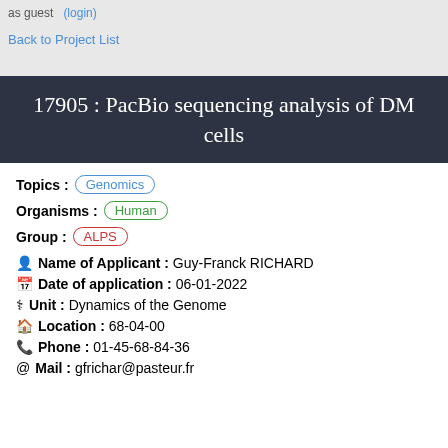as guest (login)
Back to Project List
17905 : PacBio sequencing analysis of DM cells
Topics : Genomics
Organisms : Human
Group : ALPS
Name of Applicant : Guy-Franck RICHARD
Date of application : 06-01-2022
Unit : Dynamics of the Genome
Location : 68-04-00
Phone : 01-45-68-84-36
Mail : gfrichar@pasteur.fr